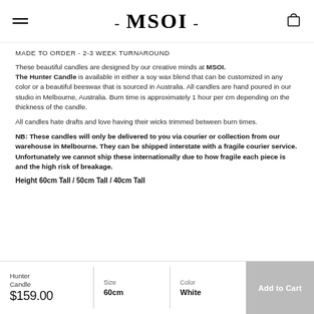- MSOI -
MADE TO ORDER -  2-3 WEEK TURNAROUND
These beautiful candles are designed by our creative minds at MSOI. The Hunter Candle is available in either a soy wax blend that can be customized in any color or a beautiful beeswax that is sourced in Australia. All candles are hand poured in our studio in Melbourne, Australia. Burn time is approximately 1 hour per cm depending on the thickness of the candle.
All candles hate drafts and love having their wicks trimmed between burn times.
NB: These candles will only be delivered to you via courier or collection from our warehouse in Melbourne. They can be shipped interstate with a fragile courier service. Unfortunately we cannot ship these internationally due to how fragile each piece is and the high risk of breakage.
Height 60cm Tall / 50cm Tall / 40cm Tall
Hunter Candle
$159.00
Size: 60cm
Color: White
Add to Cart